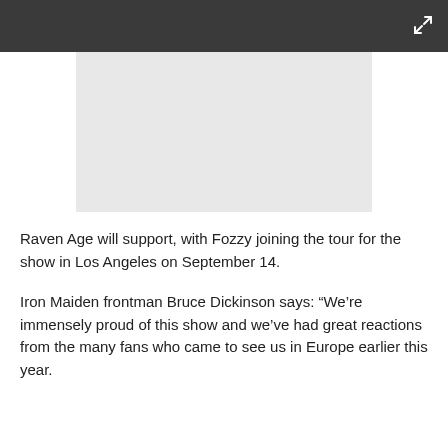[Figure (photo): Dark header bar with expand/fullscreen icon in top right corner, and a light gray image placeholder area below]
Raven Age will support, with Fozzy joining the tour for the show in Los Angeles on September 14.
Iron Maiden frontman Bruce Dickinson says: “We’re immensely proud of this show and we’ve had great reactions from the many fans who came to see us in Europe earlier this year.